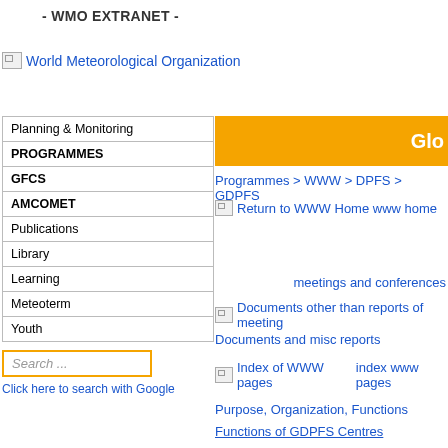- WMO EXTRANET -
[Figure (logo): World Meteorological Organization logo/link with broken image icon]
| Planning & Monitoring |
| PROGRAMMES |
| GFCS |
| AMCOMET |
| Publications |
| Library |
| Learning |
| Meteoterm |
| Youth |
Search ...
Click here to search with Google
[Figure (other): Orange banner with partial text 'Glo']
Programmes > WWW > DPFS > GDPFS
[Figure (other): Return to WWW Home www home link with broken image]
meetings and conferences
Documents other than reports of meeting Documents and misc reports
Index of WWW pages index www pages
Purpose, Organization, Functions
Functions of GDPFS Centres